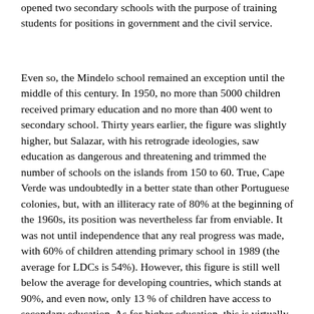opened two secondary schools with the purpose of training students for positions in government and the civil service.
Even so, the Mindelo school remained an exception until the middle of this century. In 1950, no more than 5000 children received primary education and no more than 400 went to secondary school. Thirty years earlier, the figure was slightly higher, but Salazar, with his retrograde ideologies, saw education as dangerous and threatening and trimmed the number of schools on the islands from 150 to 60. True, Cape Verde was undoubtedly in a better state than other Portuguese colonies, but, with an illiteracy rate of 80% at the beginning of the 1960s, its position was nevertheless far from enviable. It was not until independence that any real progress was made, with 60% of children attending primary school in 1989 (the average for LDCs is 54%). However, this figure is still well below the average for developing countries, which stands at 90%, and even now, only 13 % of children have access to secondary education. As for higher education, this is virtually only available abroad;